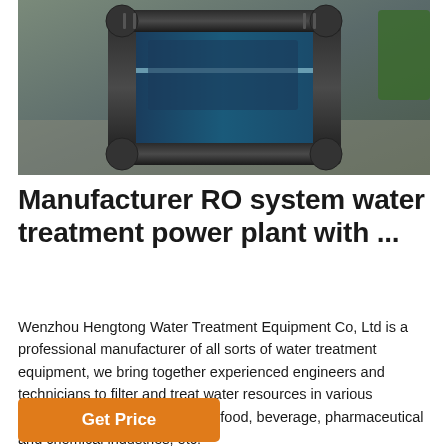[Figure (photo): Close-up photo of a dark-colored industrial RO water treatment system with pipes, valves, and fittings on a blurred background.]
Manufacturer RO system water treatment power plant with ...
Wenzhou Hengtong Water Treatment Equipment Co, Ltd is a professional manufacturer of all sorts of water treatment equipment, we bring together experienced engineers and technicians to filter and treat water resources in various industries, such as boiler, river, food, beverage, pharmaceutical and chemical industries, etc.
Get Price